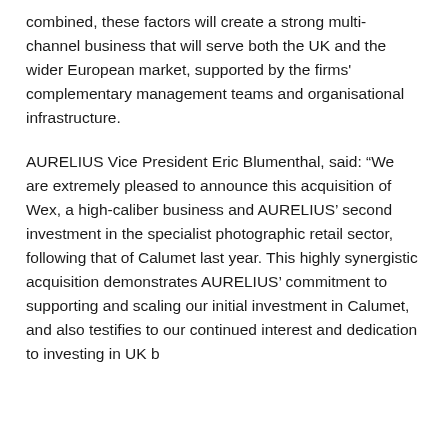combined, these factors will create a strong multi-channel business that will serve both the UK and the wider European market, supported by the firms' complementary management teams and organisational infrastructure.
AURELIUS Vice President Eric Blumenthal, said: “We are extremely pleased to announce this acquisition of Wex, a high-caliber business and AURELIUS’ second investment in the specialist photographic retail sector, following that of Calumet last year. This highly synergistic acquisition demonstrates AURELIUS’ commitment to supporting and scaling our initial investment in Calumet, and also testifies to our continued interest and dedication to investing in UK businesses post-Brexit.”